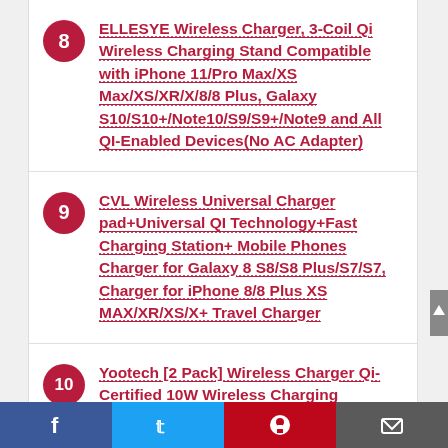8 ELLESYE Wireless Charger, 3-Coil Qi Wireless Charging Stand Compatible with iPhone 11/Pro Max/XS Max/XS/XR/X/8/8 Plus, Galaxy S10/S10+/Note10/S9/S9+/Note9 and All QI-Enabled Devices(No AC Adapter)
9 CVL Wireless Universal Charger pad+Universal QI Technology+Fast Charging Station+ Mobile Phones Charger for Galaxy 8 S8/S8 Plus/S7/S7, Charger for iPhone 8/8 Plus XS MAX/XR/XS/X+ Travel Charger
10 Yootech [2 Pack] Wireless Charger Qi-Certified 10W Wireless Charging Stand,7.5W
Facebook | Twitter | Pinterest | Email